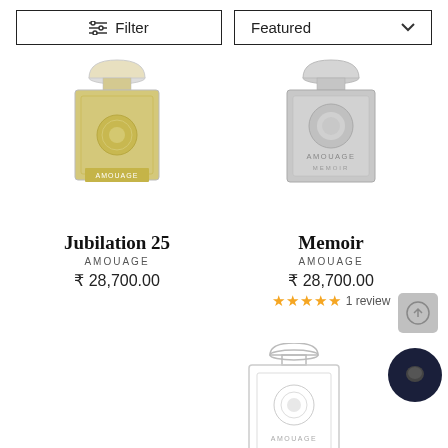[Figure (screenshot): Filter button with slider icon and Featured dropdown with chevron]
[Figure (photo): Amouage Jubilation 25 perfume bottle - gold/champagne colored square bottle with ornate cap]
Jubilation 25
AMOUAGE
₹ 28,700.00
[Figure (photo): Amouage Memoir perfume bottle - silver/grey colored square bottle with ornate cap and AMOUAGE MEMOIR text]
Memoir
AMOUAGE
₹ 28,700.00
1 review
[Figure (photo): Amouage perfume bottle outline - white/clear bottle partially visible at bottom right with dark chat bubble overlay]